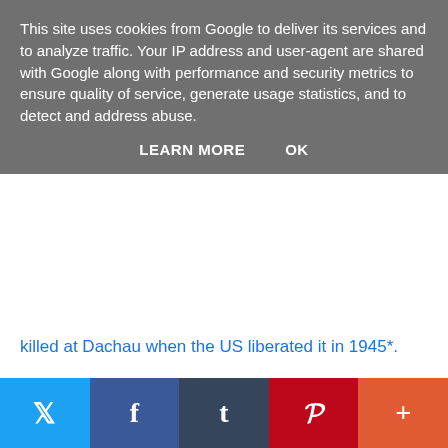This site uses cookies from Google to deliver its services and to analyze traffic. Your IP address and user-agent are shared with Google along with performance and security metrics to ensure quality of service, generate usage statistics, and to detect and address abuse.
LEARN MORE    OK
killed at Dachau when the US liberated it in 1945*.
I won't shed any tears for those utter b*****ds, but that doesn't make it right.
*Link contains GRAPHIC details of the Holocaust etc. and... it's bad. Please be careful.
[Figure (other): Social media sharing buttons: Twitter (blue), Facebook (dark blue), Tumblr (dark slate), Pinterest (red), More/plus (orange-red)]